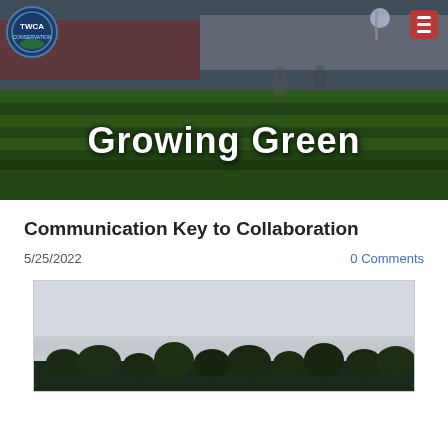[Figure (photo): Hero banner with grass/stadium background and 'Growing Green' title overlay, with TWCA logo in top-left and hamburger menu in top-right]
Growing Green
Communication Key to Collaboration
5/25/2022
0 Comments
[Figure (photo): Outdoor landscape photo showing a gray sky with trees in the foreground at the bottom edge]